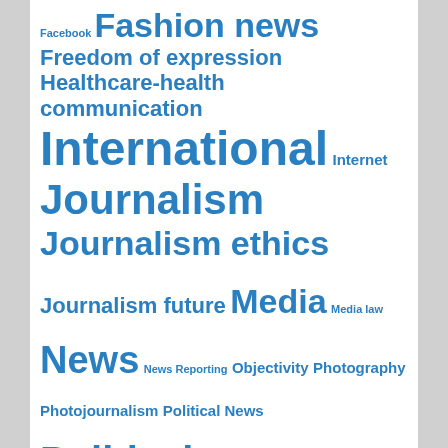Facebook Fashion news Freedom of expression Healthcare-health communication International Internet Journalism Journalism ethics Journalism future Media Media law News News Reporting Objectivity Photography Photojournalism Political News Political reporting Politics Professionalism Religion reporting Reporting